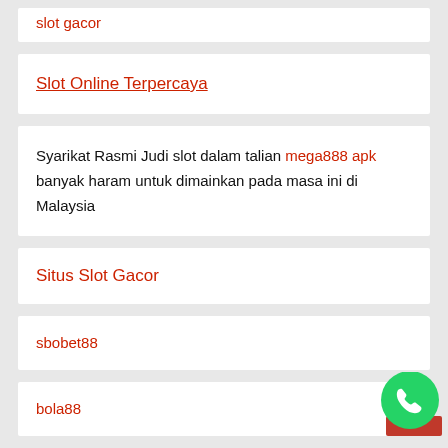slot gacor
Slot Online Terpercaya
Syarikat Rasmi Judi slot dalam talian mega888 apk banyak haram untuk dimainkan pada masa ini di Malaysia
Situs Slot Gacor
sbobet88
bola88
[Figure (logo): WhatsApp floating button icon, green circle with white phone handset]